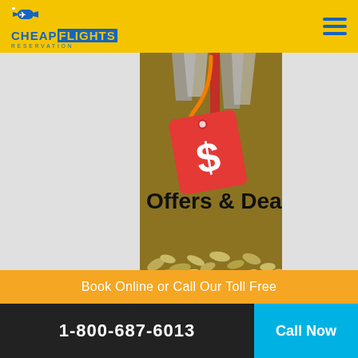CHEAPFLIGHTS RESERVATION
[Figure (illustration): Promotional banner with a golden/olive background featuring a red price tag with a dollar sign hanging from an orange loop, decorative tools/scissors in gray at top, 'Offers & Deal' text in bold black, and floral leaf decorations at the bottom]
Book Online or Call Our Toll Free
1-800-687-6013
Call Now